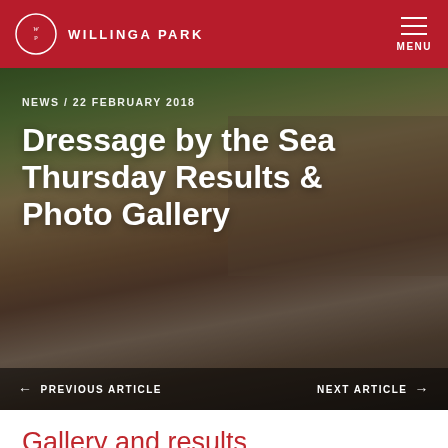WILLINGA PARK
[Figure (photo): A dressage rider on a dark horse competing at an equestrian event venue, with stands, trees and buildings visible in the background. Overlay text shows news date and article title.]
NEWS / 22 FEBRUARY 2018
Dressage by the Sea Thursday Results & Photo Gallery
Gallery and results
For live results throughout the event, visit Snaffle Bytes
More photos will be added to the photo galleries over the next day or so